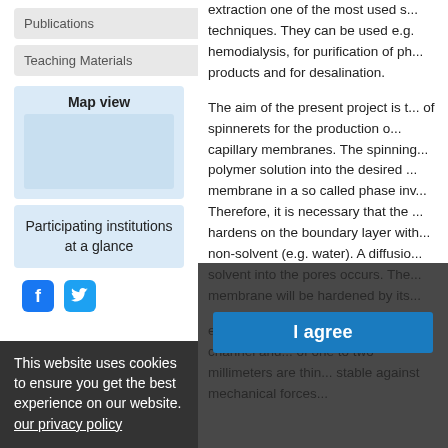Publications
Teaching Materials
Map view
Participating institutions at a glance
[Figure (other): Facebook and Twitter social media icons]
extraction one of the most used s... techniques. They can be used e.g. hemodialysis, for purification of ph... products and for desalination.
The aim of the present project is t... of spinnerets for the production o... capillary membranes. The spinning... polymer solution into the desired ... membrane in a so called phase inv... Therefore, it is necessary that the ... hardens on the boundary layer with... non-solvent (e.g. water). A diffusio... solvent into the pores occurs. The... membrane will be hardened by its... exter... gene... membranes with one channel and... of one to two millimeters are thin... stable against mechanical forces...
This website uses cookies to ensure you get the best experience on our website. our privacy policy
I agree